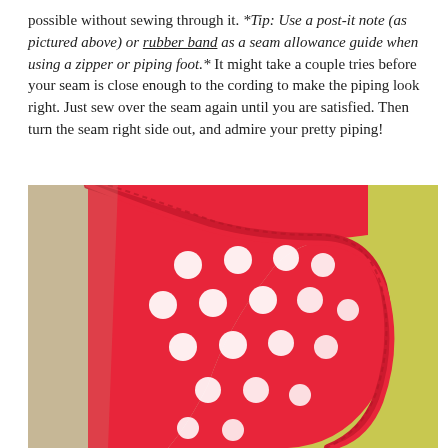possible without sewing through it. *Tip: Use a post-it note (as pictured above) or rubber band as a seam allowance guide when using a zipper or piping foot.* It might take a couple tries before your seam is close enough to the cording to make the piping look right. Just sew over the seam again until you are satisfied. Then turn the seam right side out, and admire your pretty piping!
[Figure (photo): Close-up photo of a red polka-dot fabric piece with white dots, edged with red piping/cording, turned right side out at the corner, against a yellow-green and beige/natural fabric background.]